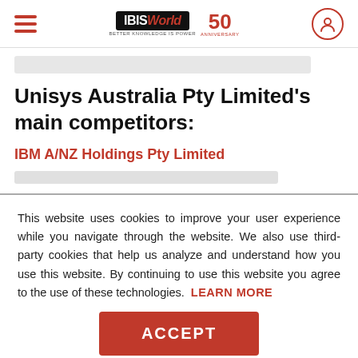IBISWorld 50th Anniversary
Unisys Australia Pty Limited's main competitors:
IBM A/NZ Holdings Pty Limited
This website uses cookies to improve your user experience while you navigate through the website. We also use third-party cookies that help us analyze and understand how you use this website. By continuing to use this website you agree to the use of these technologies. LEARN MORE
ACCEPT